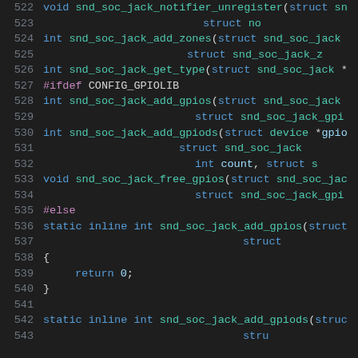[Figure (screenshot): Source code listing showing C function declarations for snd_soc_jack API, lines 522-543, with syntax highlighting on dark background]